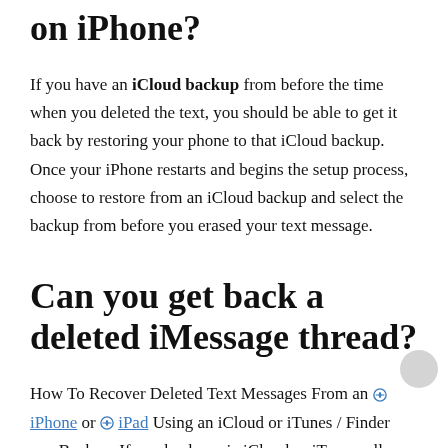on iPhone?
If you have an iCloud backup from before the time when you deleted the text, you should be able to get it back by restoring your phone to that iCloud backup. Once your iPhone restarts and begins the setup process, choose to restore from an iCloud backup and select the backup from before you erased your text message.
Can you get back a deleted iMessage thread?
How To Recover Deleted Text Messages From an iPhone or iPad Using an iCloud or iTunes / Finder app Backup. If you backup via iCloud or iTunes, all your text message conversations (SMS, MMS, and iMessages)